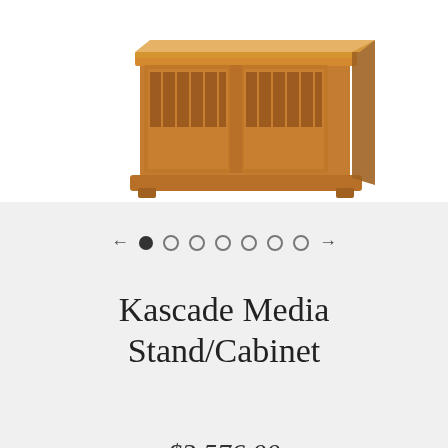[Figure (photo): Product photo of a wooden media stand/cabinet with Mission-style design, featuring slatted glass doors and warm brown finish, shown on white background.]
Kascade Media Stand/Cabinet
$3,576.00
Quantity  1  ADD TO CART